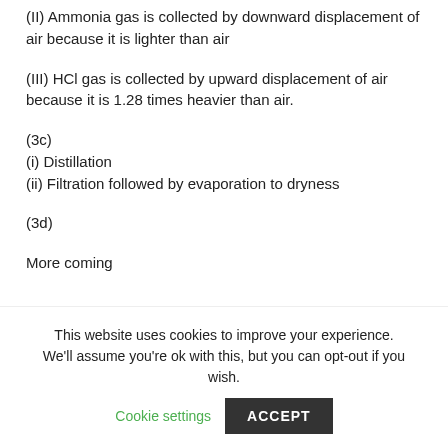(II) Ammonia gas is collected by downward displacement of air because it is lighter than air
(III) HCl gas is collected by upward displacement of air because it is 1.28 times heavier than air.
(3c)
(i) Distillation
(ii) Filtration followed by evaporation to dryness
(3d)
More coming
[Figure (photo): A photograph of a handwritten notebook page showing collection/distillation method notes]
This website uses cookies to improve your experience. We'll assume you're ok with this, but you can opt-out if you wish.
Cookie settings   ACCEPT